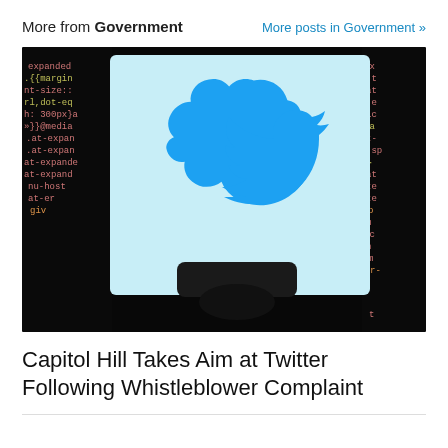More from Government   More posts in Government »
[Figure (photo): Twitter bird logo displayed on a smartphone screen held in front of a dark background showing colorful code text on a monitor]
Capitol Hill Takes Aim at Twitter Following Whistleblower Complaint